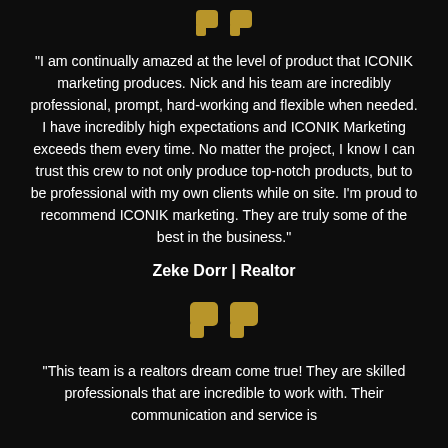[Figure (illustration): Gold quotation mark icon at top]
"I am continually amazed at the level of product that ICONIK marketing produces. Nick and his team are incredibly professional, prompt, hard-working and flexible when needed. I have incredibly high expectations and ICONIK Marketing exceeds them every time. No matter the project, I know I can trust this crew to not only produce top-notch products, but to be professional with my own clients while on site. I'm proud to recommend ICONIK marketing. They are truly some of the best in the business."
Zeke Dorr | Realtor
[Figure (illustration): Gold quotation mark icon in middle]
"This team is a realtors dream come true! They are skilled professionals that are incredible to work with. Their communication and service is